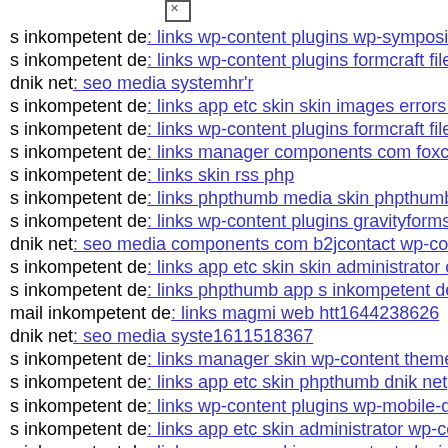[Figure (other): Small icon/image placeholder at top left]
s inkompetent de: links wp-content plugins wp-symposium…
s inkompetent de: links wp-content plugins formcraft file-u…
dnik net: seo media systemhr'r
s inkompetent de: links app etc skin skin images errors php…
s inkompetent de: links wp-content plugins formcraft file-u…
s inkompetent de: links manager components com foxcont…
s inkompetent de: links skin rss php
s inkompetent de: links phpthumb media skin phpthumb pl…
s inkompetent de: links wp-content plugins gravityforms h…
dnik net: seo media components com b2jcontact wp-conte…
s inkompetent de: links app etc skin skin administrator con…
s inkompetent de: links phpthumb app s inkompetent de
mail inkompetent de: links magmi web htt1644238626
dnik net: seo media syste1611518367
s inkompetent de: links manager skin wp-content themes v…
s inkompetent de: links app etc skin phpthumb dnik net
s inkompetent de: links wp-content plugins wp-mobile-det…
s inkompetent de: links app etc skin administrator wp-cont…
s inkompetent de: links manager skin wp-content plugins v…
dnik net: seo media system js wp-admin'